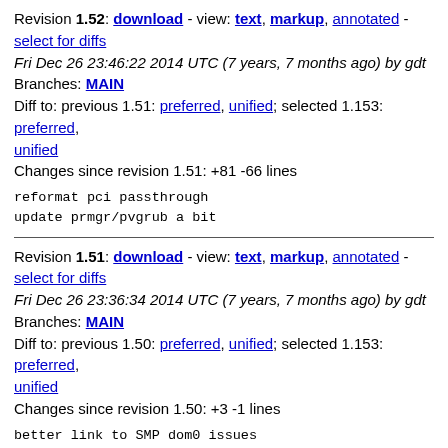Revision 1.52: download - view: text, markup, annotated - select for diffs
Fri Dec 26 23:46:22 2014 UTC (7 years, 7 months ago) by gdt
Branches: MAIN
Diff to: previous 1.51: preferred, unified; selected 1.153: preferred, unified
Changes since revision 1.51: +81 -66 lines
reformat pci passthrough
update prmgr/pvgrub a bit
Revision 1.51: download - view: text, markup, annotated - select for diffs
Fri Dec 26 23:36:34 2014 UTC (7 years, 7 months ago) by gdt
Branches: MAIN
Diff to: previous 1.50: preferred, unified; selected 1.153: preferred, unified
Changes since revision 1.50: +3 -1 lines
better link to SMP dom0 issues
Revision 1.50: download - view: text, markup, annotated - select for diffs
Fri Dec 26 20:28:45 2014 UTC (7 years, 7 months ago) by gdt
Branches: MAIN
Diff to: previous 1.49: preferred, unified; selected 1.153: preferred